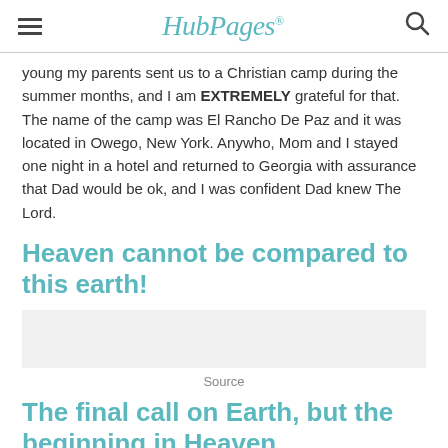HubPages
young my parents sent us to a Christian camp during the summer months, and I am EXTREMELY grateful for that. The name of the camp was El Rancho De Paz and it was located in Owego, New York. Anywho, Mom and I stayed one night in a hotel and returned to Georgia with assurance that Dad would be ok, and I was confident Dad knew The Lord.
Heaven cannot be compared to this earth!
[Figure (other): Image placeholder area]
Source
The final call on Earth, but the beginning in Heaven